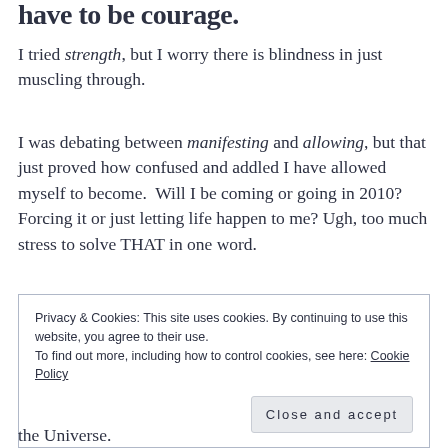have to be courage.
I tried strength, but I worry there is blindness in just muscling through.
I was debating between manifesting and allowing, but that just proved how confused and addled I have allowed myself to become.  Will I be coming or going in 2010? Forcing it or just letting life happen to me? Ugh, too much stress to solve THAT in one word.
Privacy & Cookies: This site uses cookies. By continuing to use this website, you agree to their use.
To find out more, including how to control cookies, see here: Cookie Policy
Close and accept
the Universe.